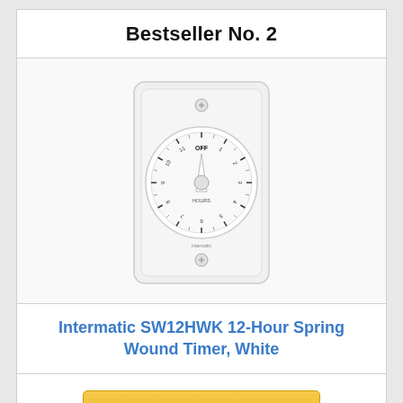Bestseller No. 2
[Figure (photo): Intermatic SW12HWK 12-Hour Spring Wound Timer wall switch, white, with circular dial showing OFF and hour markings]
Intermatic SW12HWK 12-Hour Spring Wound Timer, White
Check on Amazon
Bestseller No. 3